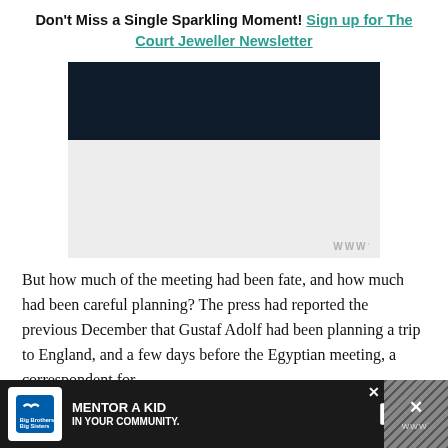Don't Miss a Single Sparkling Moment! Sign up for The Court Jeweller Newsletter
[Figure (other): Dark navy/black rectangular banner image, likely a newsletter signup graphic]
[Figure (other): Light grey advertisement area with small WPP logo watermark at bottom right]
But how much of the meeting had been fate, and how much had been careful planning? The press had reported the previous December that Gustaf Adolf had been planning a trip to England, and a few days before the Egyptian meeting, a correspondent for
[Figure (other): Bottom advertisement banner: Big Brothers Big Sisters - Mentor a Kid In Your Community. Learn How button. Close button and hatch-pattern overlay on right side.]